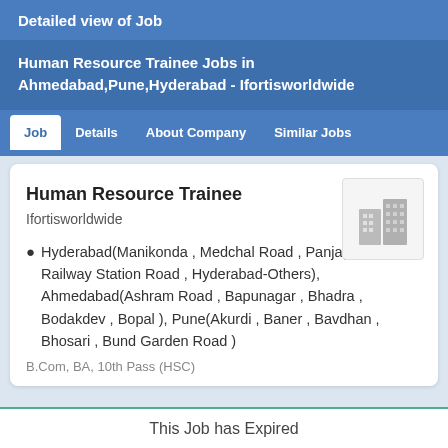Detailed view of Job
Human Resource Trainee Jobs in Ahmedabad,Pune,Hyderabad - Ifortisworldwide
Job   Details   About Company   Similar Jobs
Human Resource Trainee
Ifortisworldwide
Hyderabad(Manikonda , Medchal Road , Panjagutta , Railway Station Road , Hyderabad-Others), Ahmedabad(Ashram Road , Bapunagar , Bhadra , Bodakdev , Bopal ), Pune(Akurdi , Baner , Bavdhan , Bhosari , Bund Garden Road )
B.Com, BA, 10th Pass (HSC)
This Job has Expired